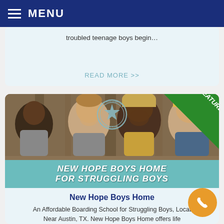MENU
troubled teenage boys begin…
READ MORE >>
[Figure (photo): Photo of three teenage boys smiling and talking outdoors, with a star seal logo and a green 'FEATURED' corner badge. Banner text reads: NEW HOPE BOYS HOME FOR STRUGGLING BOYS]
New Hope Boys Home
An Affordable Boarding School for Struggling Boys, Located Near Austin, TX. New Hope Boys Home offers life transformation to boys who…